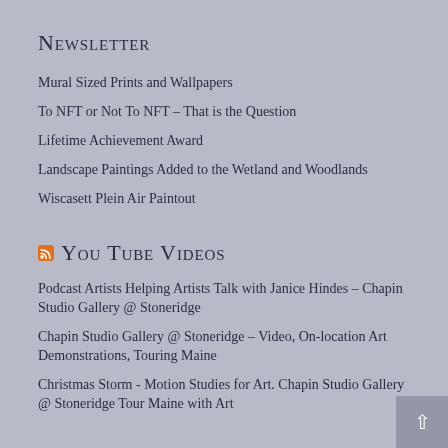Newsletter
Mural Sized Prints and Wallpapers
To NFT or Not To NFT – That is the Question
Lifetime Achievement Award
Landscape Paintings Added to the Wetland and Woodlands
Wiscasett Plein Air Paintout
You Tube Videos
Podcast Artists Helping Artists Talk with Janice Hindes – Chapin Studio Gallery @ Stoneridge
Chapin Studio Gallery @ Stoneridge – Video, On-location Art Demonstrations, Touring Maine
Christmas Storm - Motion Studies for Art. Chapin Studio Gallery @ Stoneridge Tour Maine with Art